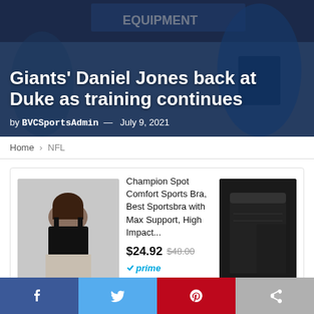[Figure (photo): Sports photo background showing an athlete in a blue Duke uniform with 'EQUIPMENT' text visible, used as hero image behind article title]
Giants' Daniel Jones back at Duke as training continues
by BVCSportsAdmin — July 9, 2021
Home > NFL
[Figure (photo): Amazon ad showing Champion Spot Comfort Sports Bra product image on left, product info in center, and black shorts image on right. Price $24.92 (was $48.00), Amazon Prime eligible, 4.5 star rating.]
Ads by Amazon